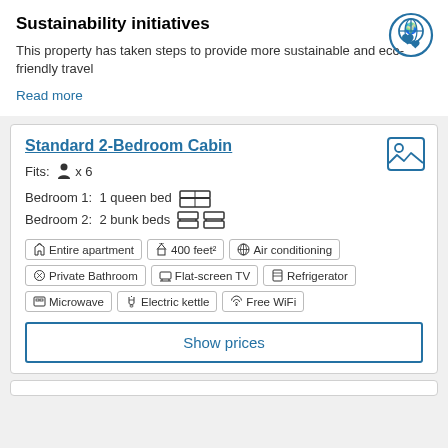Sustainability initiatives
This property has taken steps to provide more sustainable and eco-friendly travel
Read more
Standard 2-Bedroom Cabin
Fits: x 6
Bedroom 1: 1 queen bed
Bedroom 2: 2 bunk beds
Entire apartment | 400 feet² | Air conditioning | Private Bathroom | Flat-screen TV | Refrigerator | Microwave | Electric kettle | Free WiFi
Show prices